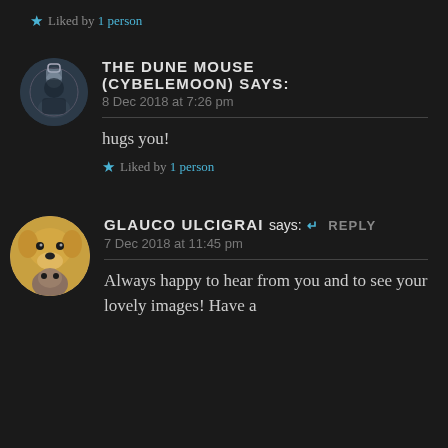★ Liked by 1 person
THE DUNE MOUSE (CYBELEMOON) says: 8 Dec 2018 at 7:26 pm
hugs you!
★ Liked by 1 person
GLAUCO ULCIGRAI says: ↵ Reply 7 Dec 2018 at 11:45 pm
Always happy to hear from you and to see your lovely images! Have a